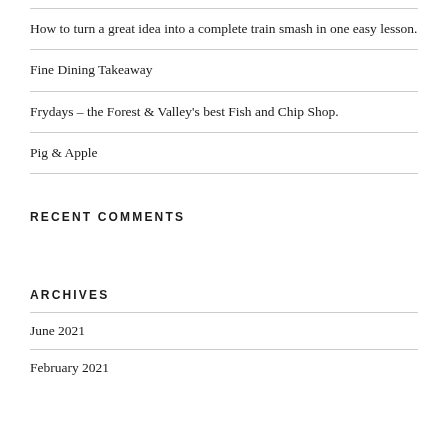How to turn a great idea into a complete train smash in one easy lesson.
Fine Dining Takeaway
Frydays – the Forest & Valley's best Fish and Chip Shop.
Pig & Apple
RECENT COMMENTS
ARCHIVES
June 2021
February 2021